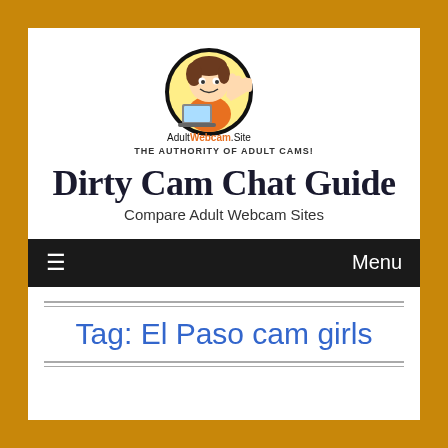[Figure (logo): AdultWebcam.Site logo - cartoon character with thumbs up holding laptop, circular badge style, with text 'AdultWebcam.Site THE AUTHORITY OF ADULT CAMS!']
Dirty Cam Chat Guide
Compare Adult Webcam Sites
≡  Menu
Tag: El Paso cam girls